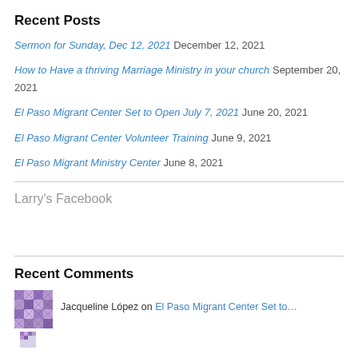Recent Posts
Sermon for Sunday, Dec 12, 2021 December 12, 2021
How to Have a thriving Marriage Ministry in your church September 20, 2021
El Paso Migrant Center Set to Open July 7, 2021 June 20, 2021
El Paso Migrant Center Volunteer Training June 9, 2021
El Paso Migrant Ministry Center June 8, 2021
Larry's Facebook
Recent Comments
Jacqueline López on El Paso Migrant Center Set to…